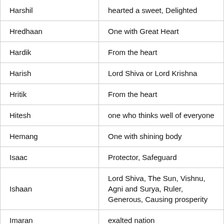| Name | Meaning |
| --- | --- |
| Harshil | hearted a sweet, Delighted |
| Hredhaan | One with Great Heart |
| Hardik | From the heart |
| Harish | Lord Shiva or Lord Krishna |
| Hritik | From the heart |
| Hitesh | one who thinks well of everyone |
| Hemang | One with shining body |
| Isaac | Protector, Safeguard |
| Ishaan | Lord Shiva, The Sun, Vishnu, Agni and Surya, Ruler, Generous, Causing prosperity |
| Imaran | exalted nation |